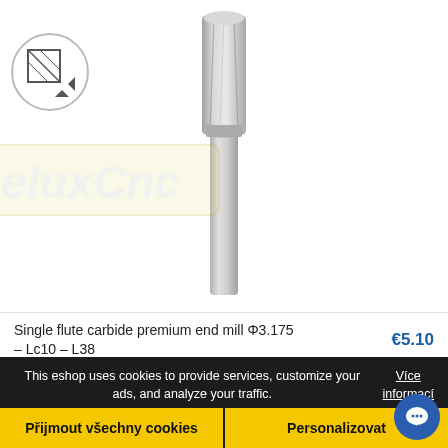[Figure (photo): Icon showing a geometric shape with arrows, top-left corner]
[Figure (photo): Single flute carbide premium end mill tool, metallic silver, vertical orientation, with DeluxCNC watermark logo in background]
Single flute carbide premium end mill Φ3.175 – Lc10 – L38
€5.10
This eshop uses cookies to provide services, customize your ads, and analyze your traffic.
Více informací
Přijmout všechny cookies
Personalizovat